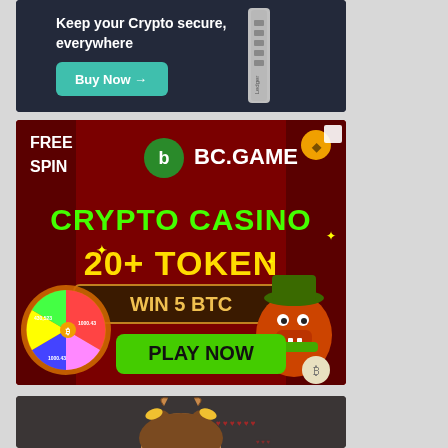[Figure (screenshot): Ledger crypto hardware wallet advertisement with dark navy background, text 'Keep your Crypto secure, everywhere', a silver Ledger hardware device, and a teal 'Buy Now →' button]
[Figure (screenshot): BC.GAME crypto casino advertisement on dark red background with 'FREE SPIN' text, BC.Game logo, 'CRYPTO CASINO 20+ TOKEN' in green and yellow, 'WIN 5 BTC' banner, 'PLAY NOW' green button, spinning wheel with crypto amounts, and cartoon crocodile character]
[Figure (screenshot): Partial view of a third advertisement with dark background showing top of an illustrated female character with brown hair and decorative accessories]